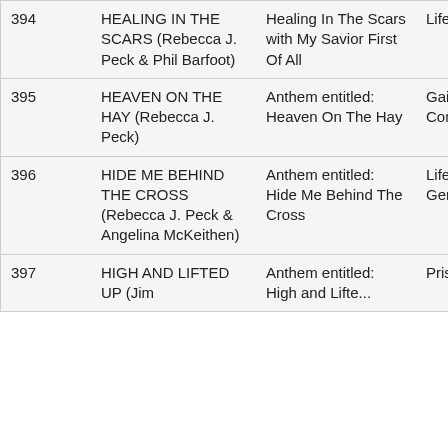| 394 | HEALING IN THE SCARS (Rebecca J. Peck & Phil Barfoot) | Healing In The Scars with My Savior First Of All | LifeWay |
| 395 | HEAVEN ON THE HAY (Rebecca J. Peck) | Anthem entitled: Heaven On The Hay | Gaither Music Company |
| 396 | HIDE ME BEHIND THE CROSS (Rebecca J. Peck & Angelina McKeithen) | Anthem entitled: Hide Me Behind The Cross | LifeWay - Genevox |
| 397 | HIGH AND LIFTED UP (Jim | Anthem entitled: High and Lifted... | Prism Music |